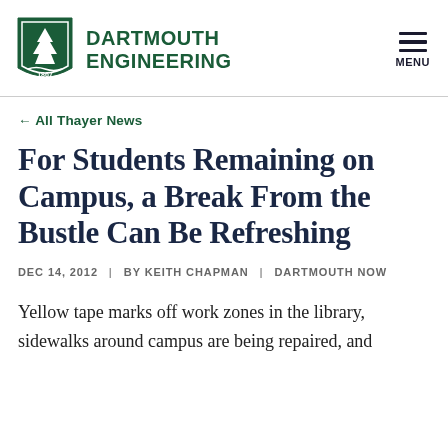DARTMOUTH ENGINEERING | MENU
← All Thayer News
For Students Remaining on Campus, a Break From the Bustle Can Be Refreshing
DEC 14, 2012  |  BY KEITH CHAPMAN  |  DARTMOUTH NOW
Yellow tape marks off work zones in the library, sidewalks around campus are being repaired, and